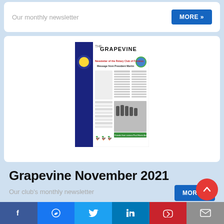Our monthly newsletter
MORE »
[Figure (screenshot): Thumbnail of The Grapevine newsletter front page showing Rotary Club of Furness masthead, president message, photos of club members, and green footer image.]
Grapevine November 2021
Our club's monthly newsletter
MORE »
Facebook | Messenger | Twitter | LinkedIn | Pinterest | Email